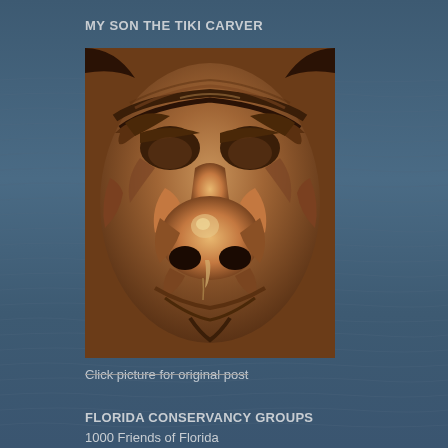MY SON THE TIKI CARVER
[Figure (photo): Close-up photograph of a carved wooden tiki face showing detailed nose and brow area with swirling carved wood grain patterns in brown and tan tones]
Click picture for original post
FLORIDA CONSERVANCY GROUPS
1000 Friends of Florida
Florida Forever